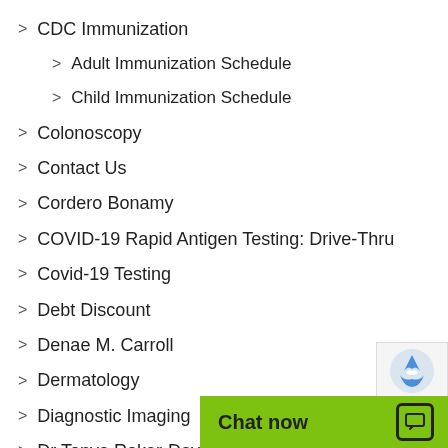> CDC Immunization
> Adult Immunization Schedule
> Child Immunization Schedule
> Colonoscopy
> Contact Us
> Cordero Bonamy
> COVID-19 Rapid Antigen Testing: Drive-Thru
> Covid-19 Testing
> Debt Discount
> Denae M. Carroll
> Dermatology
> Diagnostic Imaging
> Dr Tonya Roker-Dav...
> Dr...